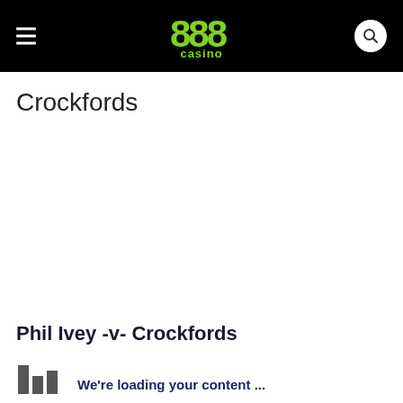888 casino
Crockfords
Phil Ivey -v- Crockfords
We're loading your content ...